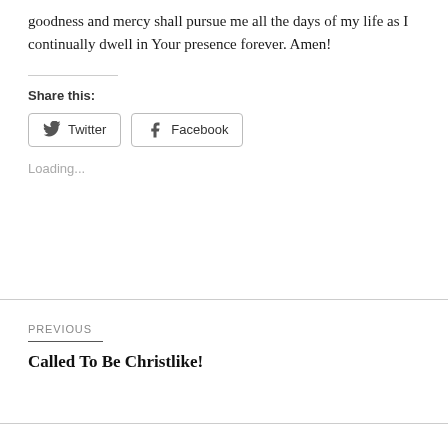goodness and mercy shall pursue me all the days of my life as I continually dwell in Your presence forever. Amen!
Share this:
Twitter
Facebook
Loading...
PREVIOUS
Called To Be Christlike!